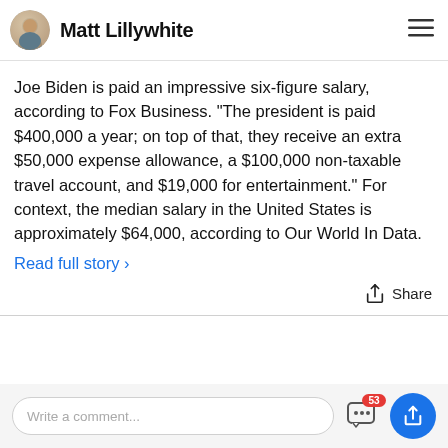Matt Lillywhite
Joe Biden is paid an impressive six-figure salary, according to Fox Business. "The president is paid $400,000 a year; on top of that, they receive an extra $50,000 expense allowance, a $100,000 non-taxable travel account, and $19,000 for entertainment." For context, the median salary in the United States is approximately $64,000, according to Our World In Data.
Read full story >
Share
Write a comment...
53